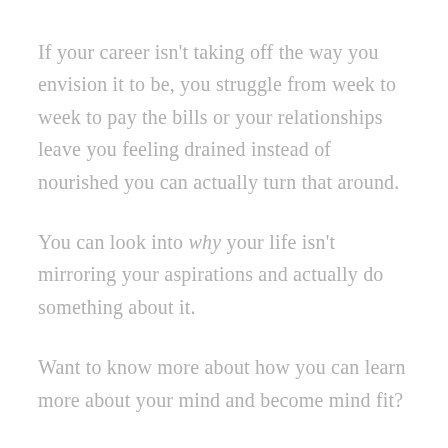If your career isn't taking off the way you envision it to be, you struggle from week to week to pay the bills or your relationships leave you feeling drained instead of nourished you can actually turn that around.
You can look into why your life isn't mirroring your aspirations and actually do something about it.
Want to know more about how you can learn more about your mind and become mind fit?